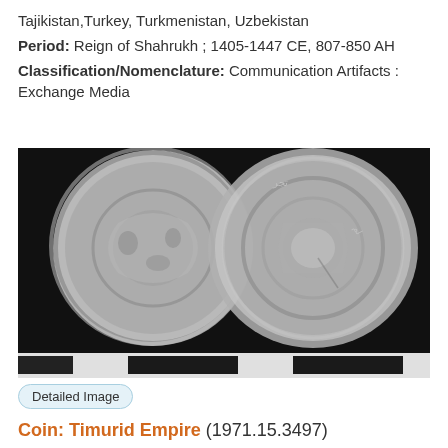Tajikistan,Turkey, Turkmenistan, Uzbekistan Period: Reign of Shahrukh ; 1405-1447 CE, 807-850 AH Classification/Nomenclature: Communication Artifacts : Exchange Media
[Figure (photo): Photograph of two sides of a silver coin from the Timurid Empire, shown against a black background with a measurement scale at the bottom.]
Detailed Image
Coin: Timurid Empire (1971.15.3497)